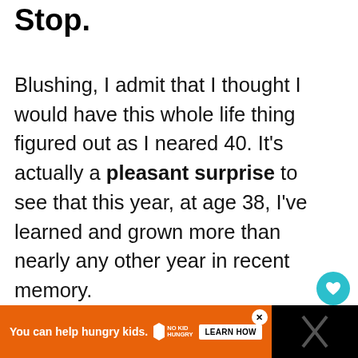Stop.
Blushing, I admit that I thought I would have this whole life thing figured out as I neared 40. It's actually a pleasant surprise to see that this year, at age 38, I've learned and grown more than nearly any other year in recent memory.
ADVERTISEMENT
WHAT'S NEXT → Read These Two Life-...
You can help hungry kids. NO KID HUNGRY LEARN HOW